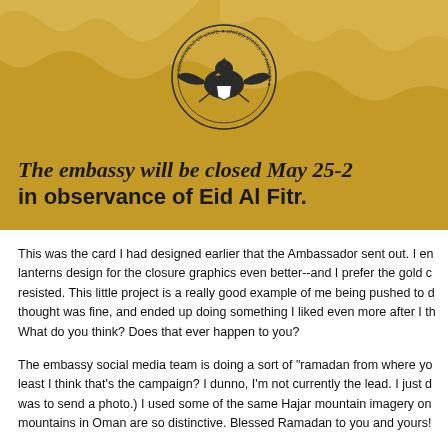[Figure (illustration): Gold/tan embassy closure announcement banner with mountain silhouette background, US Department of State seal in center, and bold text reading 'The embassy will be closed May 25-2 in observance of Eid Al Fitr.']
This was the card I had designed earlier that the Ambassador sent out. I en lanterns design for the closure graphics even better--and I prefer the gold c resisted. This little project is a really good example of me being pushed to d thought was fine, and ended up doing something I liked even more after I th What do you think? Does that ever happen to you?
The embassy social media team is doing a sort of "ramadan from where yo least I think that's the campaign? I dunno, I'm not currently the lead. I just d was to send a photo.) I used some of the same Hajar mountain imagery on mountains in Oman are so distinctive. Blessed Ramadan to you and yours!